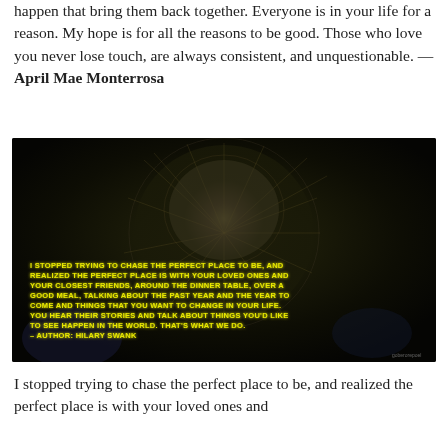happen that bring them back together. Everyone is in your life for a reason. My hope is for all the reasons to be good. Those who love you never lose touch, are always consistent, and unquestionable. — April Mae Monterrosa
[Figure (photo): Dark photo of a dandelion with yellow glowing text overlay reading a quote by Hilary Swank about stopping to chase the perfect place and realizing it is with loved ones around the dinner table.]
I stopped trying to chase the perfect place to be, and realized the perfect place is with your loved ones and...